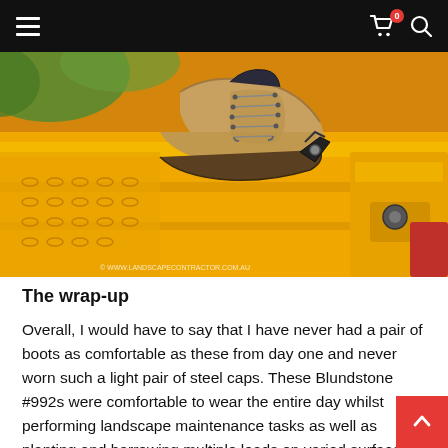Navigation bar with hamburger menu, cart icon (0 items), and search icon
[Figure (photo): Close-up photograph of a tan/beige lace-up work boot (steel cap) stepping on bright yellow industrial equipment. A watermark reads © WWW.LANDSCAPECONTRACTOR.COM.AU at the bottom left.]
The wrap-up
Overall, I would have to say that I have never had a pair of boots as comfortable as these from day one and never worn such a light pair of steel caps. These Blundstone #992s were comfortable to wear the entire day whilst performing landscape maintenance tasks as well as planting and barrowing multiple loads on varied surfaces whilst supplying the protection needed. Blundstone back the #992 with a 30-